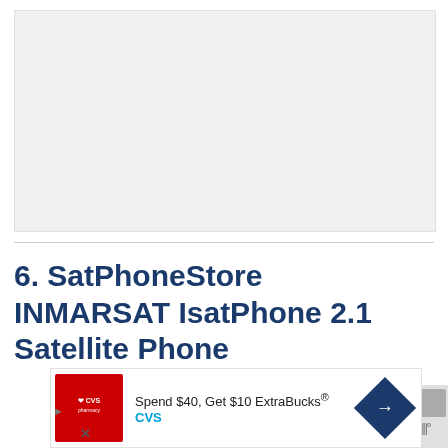[Figure (photo): Large image placeholder area, light gray background, likely a product photo of the satellite phone]
6. SatPhoneStore INMARSAT IsatPhone 2.1 Satellite Phone
[Figure (screenshot): Advertisement banner: CVS Pharmacy - Spend $40, Get $10 ExtraBucks®]